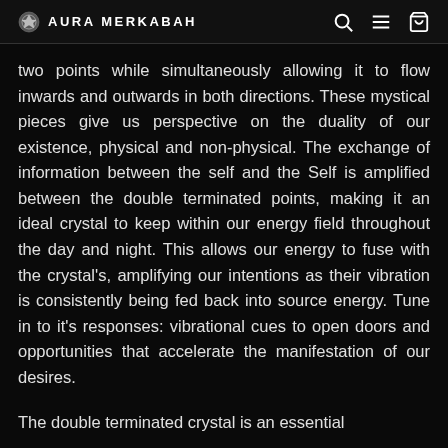AURA MERKABAH
two points while simultaneously allowing it to flow inwards and outwards in both directions. These mystical pieces give us perspective on the duality of our existence, physical and non-physical. The exchange of information between the self and the Self is amplified between the double terminated points, making it an ideal crystal to keep within our energy field throughout the day and night. This allows our energy to fuse with the crystal's, amplifying our intentions as their vibration is consistently being fed back into source energy. Tune in to it's responses: vibrational cues to open doors and opportunities that accelerate the manifestation of our desires.
The double terminated crystal is an essential